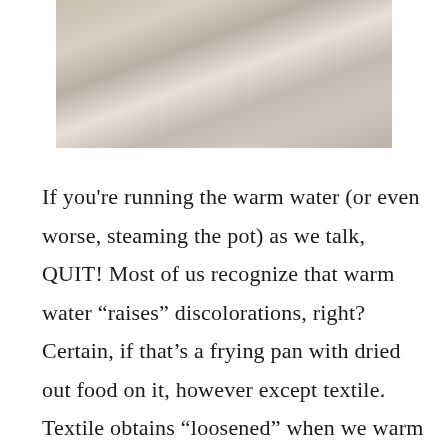[Figure (photo): Photo of bedding or pillows in soft muted tones, partially cropped at the top of the page]
If you're running the warm water (or even worse, steaming the pot) as we talk, QUIT! Most of us recognize that warm water “raises” discolorations, right? Certain, if that’s a frying pan with dried out food on it, however except textile. Textile obtains “losened” when we warm it up, and also it’s more probable to catch the bits creating the